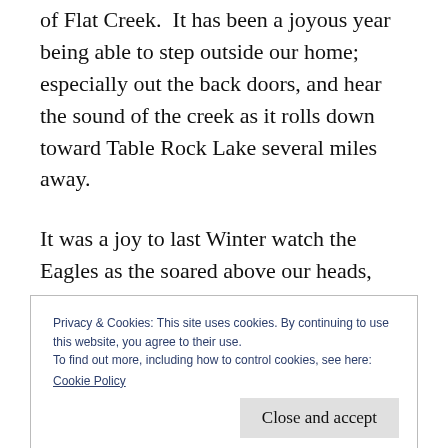of Flat Creek.  It has been a joyous year being able to step outside our home; especially out the back doors, and hear the sound of the creek as it rolls down toward Table Rock Lake several miles away.
It was a joy to last Winter watch the Eagles as the soared above our heads, house and land.  It was also with joy that when the tornado struck Joplin, MO. we had the house and space for our
Privacy & Cookies: This site uses cookies. By continuing to use this website, you agree to their use.
To find out more, including how to control cookies, see here:
Cookie Policy
enjoyed having him around too.  I do not